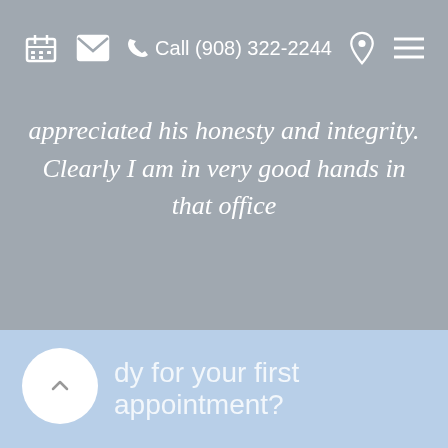Call (908) 322-2244
appreciated his honesty and integrity. Clearly I am in very good hands in that office
Phyllis F.
[Figure (other): Carousel navigation dots, 9 dots total, first dot highlighted in white]
Ready for your first appointment?